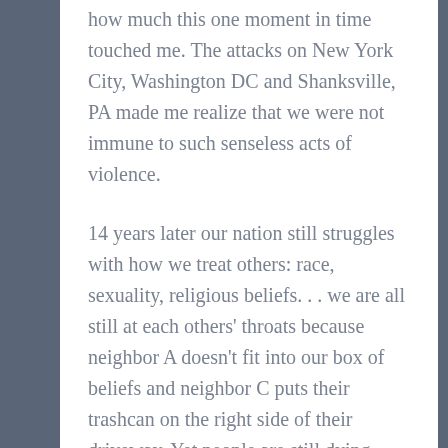how much this one moment in time touched me. The attacks on New York City, Washington DC and Shanksville, PA made me realize that we were not immune to such senseless acts of violence.
14 years later our nation still struggles with how we treat others: race, sexuality, religious beliefs. . . we are all still at each others' throats because neighbor A doesn't fit into our box of beliefs and neighbor C puts their trashcan on the right side of their driveway. Yet people are still dying because one party believes they have been wronged by the other party.
Did we not learn anything from 9/11?
But today, let us put all of our differences aside and remember those who lost their lives and to those who have sine passed. Hold tight the ones you love and